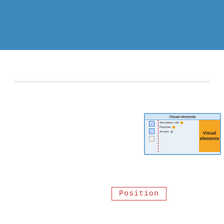[Figure (screenshot): Blue header bar decorative element at top of page]
[Figure (screenshot): Screenshot of a Visual elements panel showing checkboxes for Simulation cell, Particles, and Arrows with yellow color indicators and a tooltip/overlay showing 'Visual elements' text]
Position